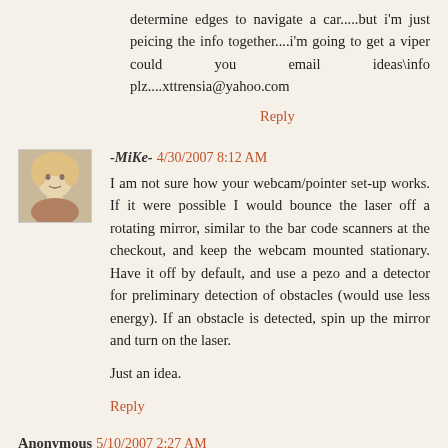determine edges to navigate a car.....but i'm just peicing the info together....i'm going to get a viper could you email ideas\info plz....xttrensia@yahoo.com
Reply
[Figure (photo): Small avatar photo of a person with light hair]
-MiKe-  4/30/2007 8:12 AM
I am not sure how your webcam/pointer set-up works. If it were possible I would bounce the laser off a rotating mirror, similar to the bar code scanners at the checkout, and keep the webcam mounted stationary. Have it off by default, and use a pezo and a detector for preliminary detection of obstacles (would use less energy). If an obstacle is detected, spin up the mirror and turn on the laser.
Just an idea.
Reply
Anonymous  5/10/2007 2:27 AM